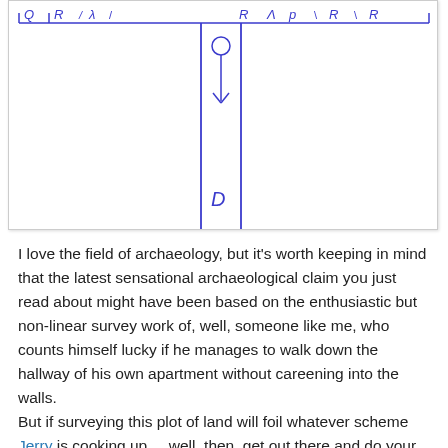[Figure (illustration): Hand-drawn sketch showing a horizontal line with ruler-like markings at top, and two vertical parallel lines descending from the center forming a corridor or hallway. A stick figure with a circle head and downward arrow is at the top of the corridor. The letter 'D' is written near the bottom of the corridor.]
I love the field of archaeology, but it's worth keeping in mind that the latest sensational archaeological claim you just read about might have been based on the enthusiastic but non-linear survey work of, well, someone like me, who counts himself lucky if he manages to walk down the hallway of his own apartment without careening into the walls.
But if surveying this plot of land will foil whatever scheme Jerry is cooking up.... well, then, get out there and do your duty, soldier.